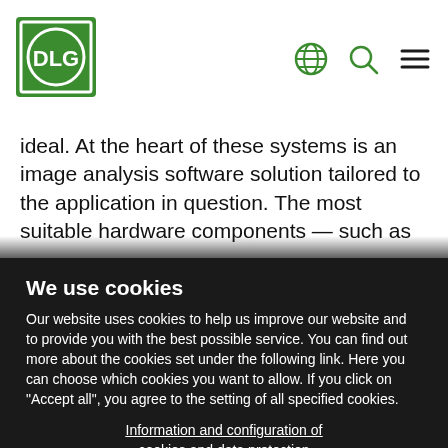[Figure (logo): DLG logo - green circle with DLG text in white, square green border]
ideal. At the heart of these systems is an image analysis software solution tailored to the application in question. The most suitable hardware components — such as
We use cookies
Our website uses cookies to help us improve our website and to provide you with the best possible service. You can find out more about the cookies set under the following link. Here you can choose which cookies you want to allow. If you click on "Accept all", you agree to the setting of all specified cookies.
Information and configuration of cookies and data protection
Decline
Accept all